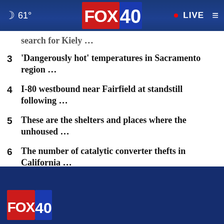61° FOX 40 • LIVE
search for Kiely …
3 'Dangerously hot' temperatures in Sacramento region …
4 I-80 westbound near Fairfield at standstill following …
5 These are the shelters and places where the unhoused …
6 The number of catalytic converter thefts in California …
FOX 40